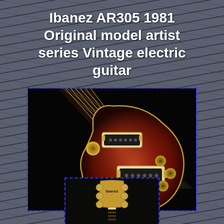Ibanez AR305 1981 Original model artist series Vintage electric guitar
[Figure (photo): Close-up photograph of an Ibanez AR305 1981 vintage electric guitar body, showing cherry sunburst finish with two humbucking pickups, gold hardware, tune-o-matic bridge, and volume/tone knobs. eBay watermark visible at bottom center.]
[Figure (photo): Second photograph showing the headstock of the Ibanez AR305 guitar with Ibanez logo and tuning pegs.]